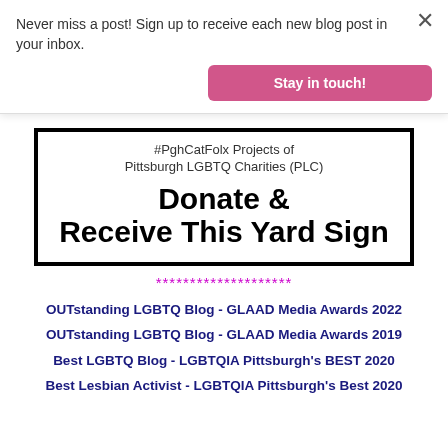Never miss a post! Sign up to receive each new blog post in your inbox.
Stay in touch!
[Figure (other): Yard sign promotion for #PghCatFolx Projects of Pittsburgh LGBTQ Charities (PLC) — Donate & Receive This Yard Sign]
********************
OUTstanding LGBTQ Blog - GLAAD Media Awards 2022
OUTstanding LGBTQ Blog - GLAAD Media Awards 2019
Best LGBTQ Blog - LGBTQIA Pittsburgh's BEST 2020
Best Lesbian Activist - LGBTQIA Pittsburgh's Best 2020